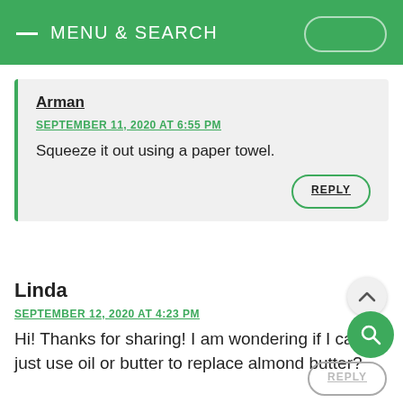MENU & SEARCH
Arman
SEPTEMBER 11, 2020 AT 6:55 PM
Squeeze it out using a paper towel.
Linda
SEPTEMBER 12, 2020 AT 4:23 PM
Hi! Thanks for sharing! I am wondering if I can just use oil or butter to replace almond butter?